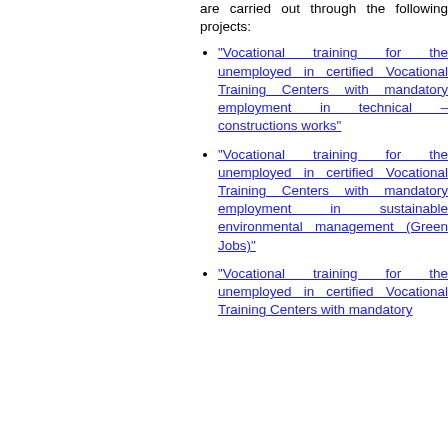are carried out through the following projects:
"Vocational training for the unemployed in certified Vocational Training Centers with mandatory employment in technical – constructions works"
"Vocational training for the unemployed in certified Vocational Training Centers with mandatory employment in sustainable environmental management (Green Jobs)"
"Vocational training for the unemployed in certified Vocational Training Centers with mandatory